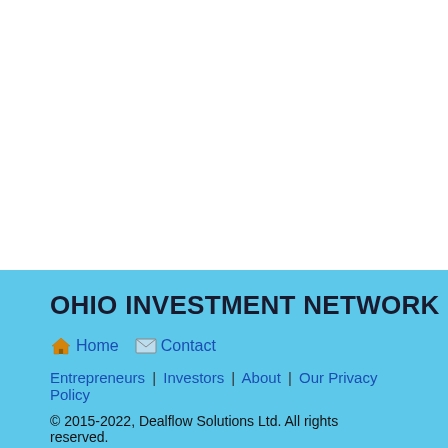Permalink
Archive   Select month ...
OHIO INVESTMENT NETWORK
Home   Contact
Entrepreneurs | Investors | About | Our Privacy Policy
© 2015-2022, Dealflow Solutions Ltd. All rights reserved.
Connecting Ohio Entrepreneurs and Investors.
Notice: The Ohio Investment Network is owned by Dealfow Solutions Ltd. The Ohio Dealflow Investment Network, that provides a platform for startups and existing businesses to raise capital. Dealflow Solutions Ltd. is not a registered broker or dealer and does not offer investment advice. Ohio Investment Network does not provide direct funding or make any recommendations on investments. Nothing on this website should be construed as an offer to sell, a solicitation of an offer. Dealflow Solutons Ltd. or any third party. Dealflow Solutions Ltd. does not take part in the negotiation. Ohio Investment Network does not purchase, sell, negotiate, execute, take possession or is permitted through our platform. We are not an equity crowdfunding platform or portal. Entrepreneurs. Ohio Investment Network are hereby warned that engaging in private fundraising and